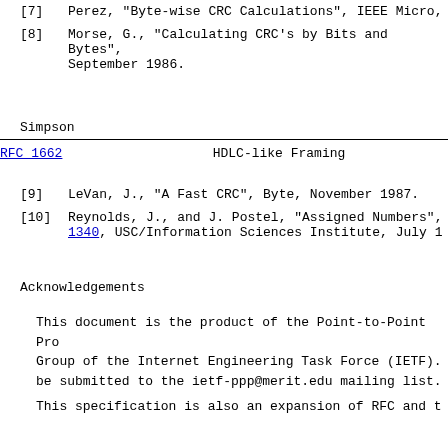[7]   Perez, "Byte-wise CRC Calculations", IEEE Micro,
[8]   Morse, G., "Calculating CRC's by Bits and Bytes", September 1986.
Simpson
RFC 1662                    HDLC-like Framing
[9]   LeVan, J., "A Fast CRC", Byte, November 1987.
[10]  Reynolds, J., and J. Postel, "Assigned Numbers", RFC 1340, USC/Information Sciences Institute, July 1
Acknowledgements
This document is the product of the Point-to-Point Pro Group of the Internet Engineering Task Force (IETF). be submitted to the ietf-ppp@merit.edu mailing list.
This specification is also an expansion of RFC and t